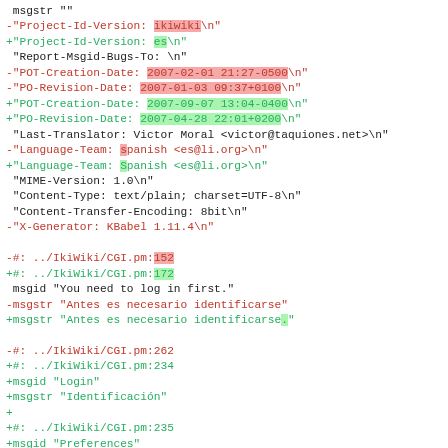diff/patch output showing changes to a PO translation file for IkiWiki, including header metadata changes and translation string updates